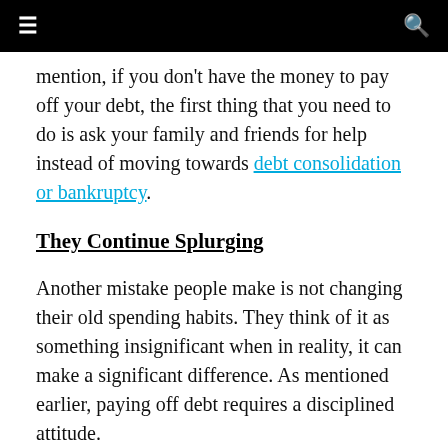≡  [navigation bar]  🔍
mention, if you don't have the money to pay off your debt, the first thing that you need to do is ask your family and friends for help instead of moving towards debt consolidation or bankruptcy.
They Continue Splurging
Another mistake people make is not changing their old spending habits. They think of it as something insignificant when in reality, it can make a significant difference. As mentioned earlier, paying off debt requires a disciplined attitude.
Thus, you cannot splurge and overspend if you wish to be debt free and grow...